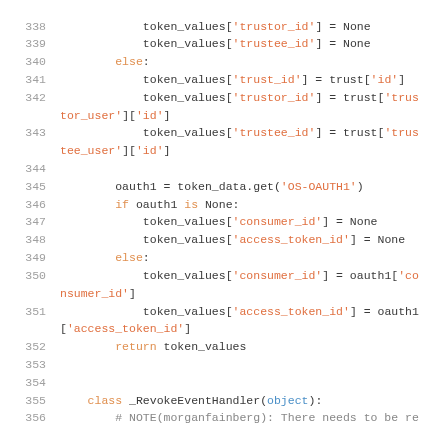[Figure (screenshot): Python source code lines 338-356 showing token_values assignments for trustor_id, trustee_id, trust_id, oauth1 handling, consumer_id, access_token_id, return statement, and class _RevokeEventHandler definition.]